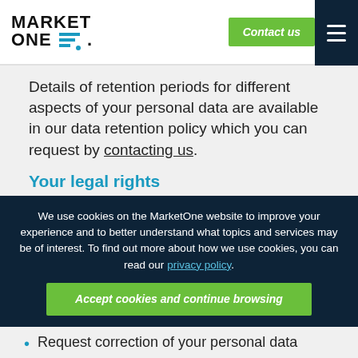MarketOne — Contact us
Details of retention periods for different aspects of your personal data are available in our data retention policy which you can request by contacting us.
Your legal rights
We use cookies on the MarketOne website to improve your experience and to better understand what topics and services may be of interest. To find out more about how we use cookies, you can read our privacy policy. Accept cookies and continue browsing
Request correction of your personal data
Request erasure of your personal data
Object to processing of your personal data